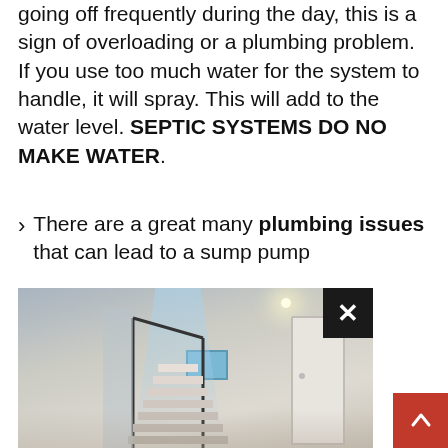going off frequently during the day, this is a sign of overloading or a plumbing problem. If you use too much water for the system to handle, it will spray. This will add to the water level. SEPTIC SYSTEMS DO NO MAKE WATER.
There are a great many plumbing issues that can lead to a sump pump [continues below image] to a
[Figure (photo): Photo of a finished basement interior with carpeted floor, staircase with metal railing, a window, recessed ceiling light, and a white door on the right. Caption bar at bottom reads 'Sump Pump Installation' with source 'alwayswaterproofing'. Has a close (X) button in top-right corner and a circular play/forward button.]
Sump Pump Installation
alwayswaterproofing